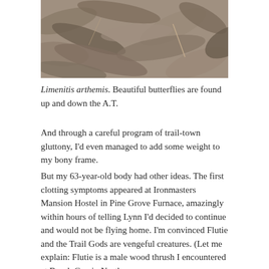[Figure (photo): Close-up photo of dried brown and grey leaf litter on the ground, dead leaves overlapping each other.]
Limenitis arthemis. Beautiful butterflies are found up and down the A.T.
And through a careful program of trail-town gluttony, I'd even managed to add some weight to my bony frame.
But my 63-year-old body had other ideas. The first clotting symptoms appeared at Ironmasters Mansion Hostel in Pine Grove Furnace, amazingly within hours of telling Lynn I'd decided to continue and would not be flying home. I'm convinced Flutie and the Trail Gods are vengeful creatures. (Let me explain: Flutie is a male wood thrush I encountered at Beech Gap in North